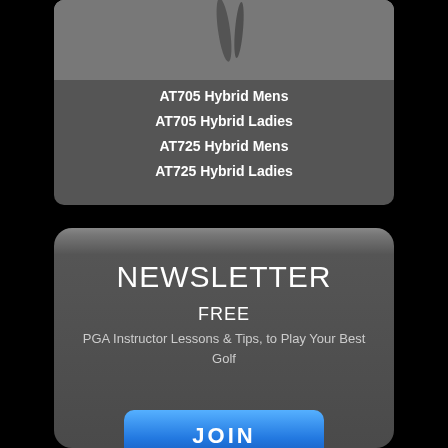[Figure (photo): Golf hybrid club product image on grey background]
AT705 Hybrid Mens
AT705 Hybrid Ladies
AT725 Hybrid Mens
AT725 Hybrid Ladies
NEWSLETTER
FREE
PGA Instructor Lessons & Tips, to Play Your Best Golf
JOIN